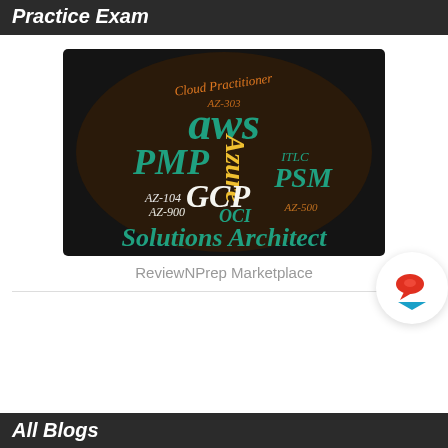Practice Exam
[Figure (illustration): Word cloud on dark circular background featuring certification exam terms: aws, PMP, GCP, PSM, Azure, ITLC, AZ-303, AZ-104, AZ-900, AZ-500, OCI, Cloud Practitioner, Solutions Architect in teal, orange, yellow, and white colors]
ReviewNPrep Marketplace
All Blogs